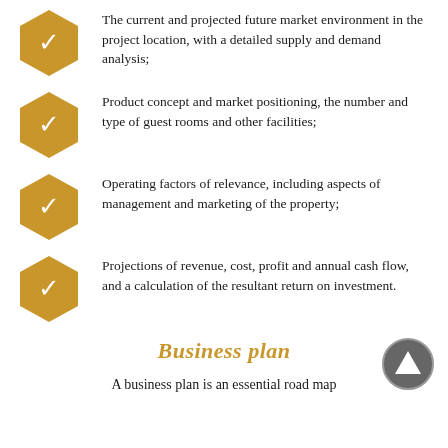The current and projected future market environment in the project location, with a detailed supply and demand analysis;
Product concept and market positioning, the number and type of guest rooms and other facilities;
Operating factors of relevance, including aspects of management and marketing of the property;
Projections of revenue, cost, profit and annual cash flow, and a calculation of the resultant return on investment.
Business plan
A business plan is an essential road map